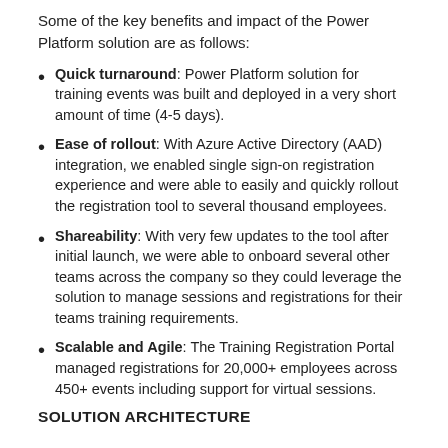Some of the key benefits and impact of the Power Platform solution are as follows:
Quick turnaround: Power Platform solution for training events was built and deployed in a very short amount of time (4-5 days).
Ease of rollout: With Azure Active Directory (AAD) integration, we enabled single sign-on registration experience and were able to easily and quickly rollout the registration tool to several thousand employees.
Shareability: With very few updates to the tool after initial launch, we were able to onboard several other teams across the company so they could leverage the solution to manage sessions and registrations for their teams training requirements.
Scalable and Agile: The Training Registration Portal managed registrations for 20,000+ employees across 450+ events including support for virtual sessions.
SOLUTION ARCHITECTURE